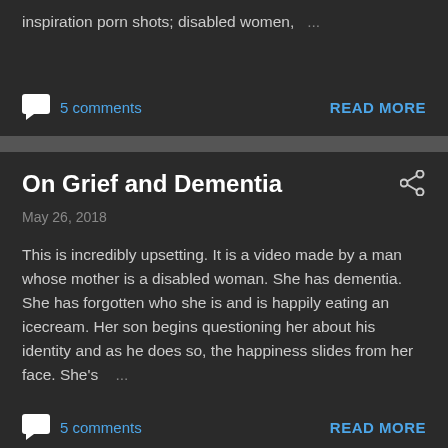always been a bit of a joke. There are the inspiration porn shots; disabled women, …
5 comments
READ MORE
On Grief and Dementia
May 26, 2018
This is incredibly upsetting. It is a video made by a man whose mother is a disabled woman. She has dementia. She has forgotten who she is and is happily eating an icecream. Her son begins questioning her about his identity and as he does so, the happiness slides from her face. She's …
5 comments
READ MORE